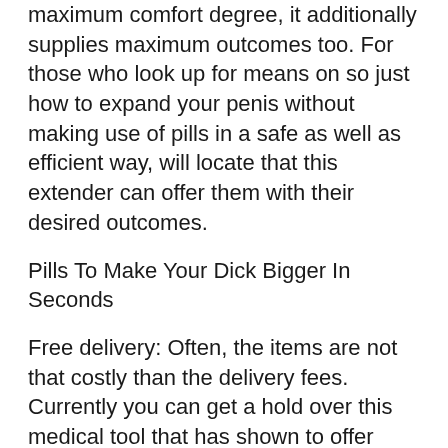maximum comfort degree, it additionally supplies maximum outcomes too. For those who look up for means on so just how to expand your penis without making use of pills in a safe as well as efficient way, will locate that this extender can offer them with their desired outcomes.
Pills To Make Your Dick Bigger In Seconds
Free delivery: Often, the items are not that costly than the delivery fees. Currently you can get a hold over this medical tool that has shown to offer assured outcomes without worrying about the delivery charges. Together with this the extender guarantees return back policy, so even if you are hesitant to try it out due to your worry of